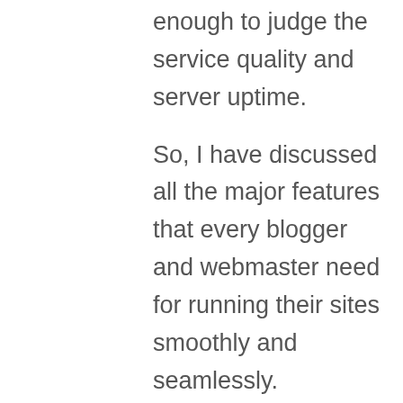enough to judge the service quality and server uptime.
So, I have discussed all the major features that every blogger and webmaster need for running their sites smoothly and seamlessly.
Let's take a look at Inmotion Hosting Black Friday plans:
[Figure (other): Green button: Get 57% OFF Discount]
InMotion Hosting